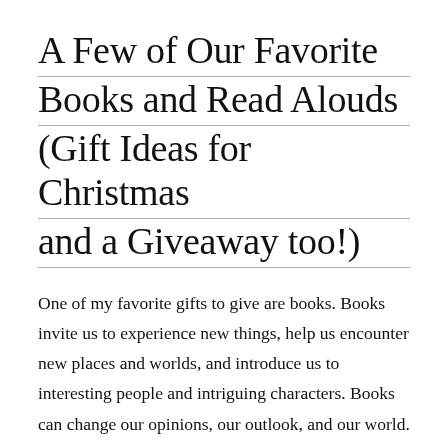A Few of Our Favorite Books and Read Alouds (Gift Ideas for Christmas and a Giveaway too!)
One of my favorite gifts to give are books. Books invite us to experience new things, help us encounter new places and worlds, and introduce us to interesting people and intriguing characters. Books can change our opinions, our outlook, and our world.
There are so many wonderful books to give, it can be overwhelming scrolling through page after page of titles trying to decide which book would make a good choice. To help, I've compiled a list of our favorite read alouds